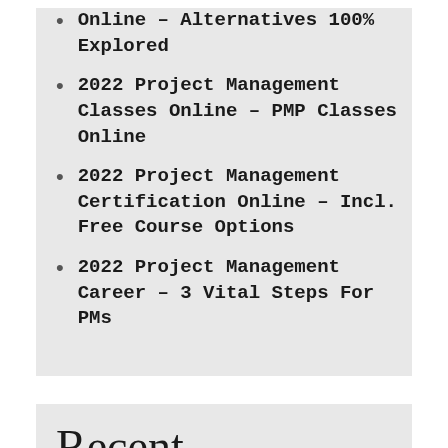Online – Alternatives 100% Explored
2022 Project Management Classes Online – PMP Classes Online
2022 Project Management Certification Online – Incl. Free Course Options
2022 Project Management Career – 3 Vital Steps For PMs
Recent Comments
A WordPress Commenter on Hello world!